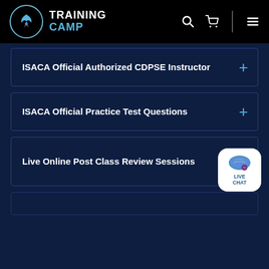[Figure (logo): Training Camp logo with circular emblem and text TRAINING CAMP in white and blue]
ISACA Official Authorized CDPSE Instructor
ISACA Official Practice Test Questions
Live Online Post Class Review Sessions
[Figure (illustration): Live Chat button widget with teal/purple speech bubble icon and white background rounded square]